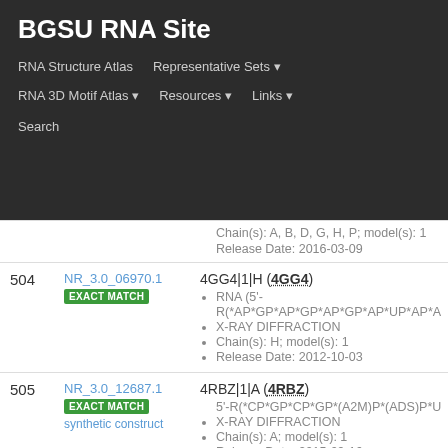BGSU RNA Site
RNA Structure Atlas
Representative Sets
RNA 3D Motif Atlas
Resources
Links
Search
| # | ID | Details |
| --- | --- | --- |
|  |  | Chain(s): A, B, D, G, H, P; model(s): 1
Release Date: 2016-03-09 |
| 504 | NR_3.0_06970.1
EXACT MATCH | 4GG4|1|H (4GG4)
RNA (5'-R(*AP*GP*AP*GP*AP*GP*AP*UP*AP*A
X-RAY DIFFRACTION
Chain(s): H; model(s): 1
Release Date: 2012-10-03 |
| 505 | NR_3.0_12687.1
EXACT MATCH
synthetic construct | 4RBZ|1|A (4RBZ)
5'-R(*CP*GP*CP*GP*(A2M)P*(ADS)P*U
X-RAY DIFFRACTION
Chain(s): A; model(s): 1
Release Date: 2015-09-16 |